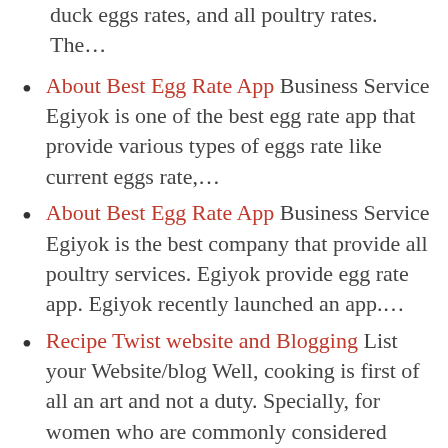duck eggs rates, and all poultry rates. The…
About Best Egg Rate App Business Service Egiyok is one of the best egg rate app that provide various types of eggs rate like current eggs rate,…
About Best Egg Rate App Business Service Egiyok is the best company that provide all poultry services. Egiyok provide egg rate app. Egiyok recently launched an app.…
Recipe Twist website and Blogging List your Website/blog Well, cooking is first of all an art and not a duty. Specially, for women who are commonly considered as…
New Food Recipe Channel on YouTube Hotel/Restaurants All you have any…